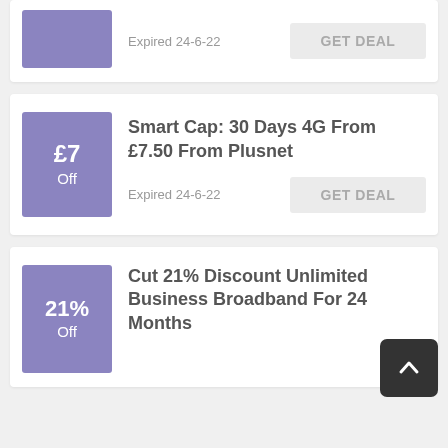[Figure (other): Partial deal card at top showing expired deal with purple badge and GET DEAL button. Expired 24-6-22.]
Expired 24-6-22
GET DEAL
Smart Cap: 30 Days 4G From £7.50 From Plusnet
Expired 24-6-22
GET DEAL
£7 Off
Cut 21% Discount Unlimited Business Broadband For 24 Months
21% Off